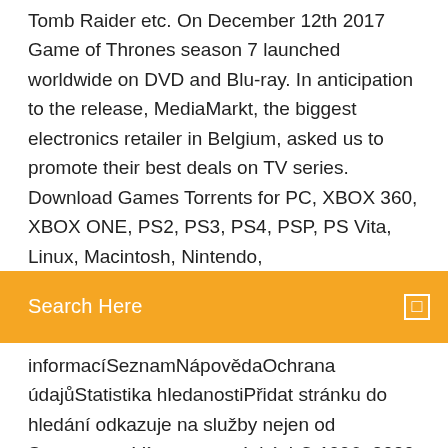Tomb Raider etc. On December 12th 2017 Game of Thrones season 7 launched worldwide on DVD and Blu-ray. In anticipation to the release, MediaMarkt, the biggest electronics retailer in Belgium, asked us to promote their best deals on TV series. Download Games Torrents for PC, XBOX 360, XBOX ONE, PS2, PS3, PS4, PSP, PS Vita, Linux, Macintosh, Nintendo,
[Figure (screenshot): Orange search bar overlay with text 'Search Here' on left and a small square icon on the right]
informacíSeznamNápovědaOchrana údajůStatistika hledanostiPřidat stránku do hledání odkazuje na služby nejen od Seznam.cz. Více o upoutávkách© 1996−2020 Seznam.cz, a.s. Download Game Of Thrones S06E08 720p 5 1Ch HDTV ReEnc DeeJayAhmed Torrents absolutely for free, Magnet Link And Direct Download also Available. The ruler of Hell, Lucifer Morningstar, possesses a night club in Los Angeles. After a drug dealer murders in front of him the pop superstar he attempts to assist, he uses his powers of persuasion to help at